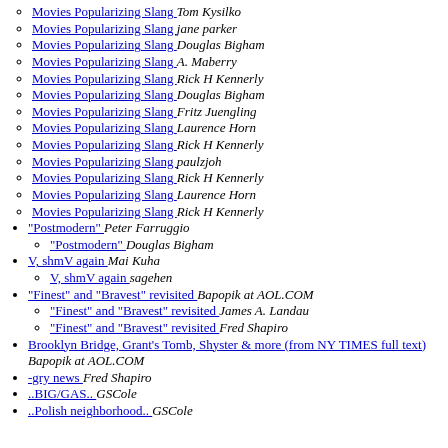Movies Popularizing Slang  Tom Kysilko
Movies Popularizing Slang  jane parker
Movies Popularizing Slang  Douglas Bigham
Movies Popularizing Slang  A. Maberry
Movies Popularizing Slang  Rick H Kennerly
Movies Popularizing Slang  Douglas Bigham
Movies Popularizing Slang  Fritz Juengling
Movies Popularizing Slang  Laurence Horn
Movies Popularizing Slang  Rick H Kennerly
Movies Popularizing Slang  paulzjoh
Movies Popularizing Slang  Rick H Kennerly
Movies Popularizing Slang  Laurence Horn
Movies Popularizing Slang  Rick H Kennerly
"Postmodern"  Peter Farruggio
"Postmodern"  Douglas Bigham
V, shmV again  Mai Kuha
V, shmV again  sagehen
"Finest" and "Bravest" revisited  Bapopik at AOL.COM
"Finest" and "Bravest" revisited  James A. Landau
"Finest" and "Bravest" revisited  Fred Shapiro
Brooklyn Bridge, Grant's Tomb, Shyster & more (from NY TIMES full text)  Bapopik at AOL.COM
-gry news  Fred Shapiro
..BIG/GAS..  GSCole
..Polish neighborhood..  GSCole